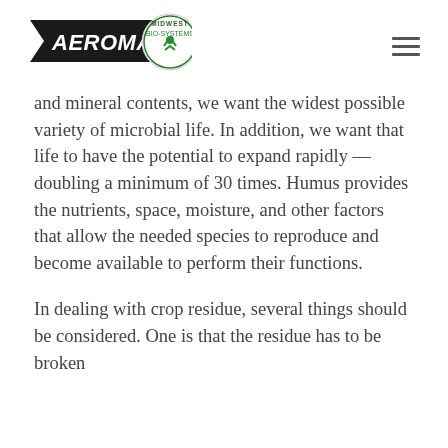Aeromaster Midwest Bio-Systems
and mineral contents, we want the widest possible variety of microbial life. In addition, we want that life to have the potential to expand rapidly — doubling a minimum of 30 times. Humus provides the nutrients, space, moisture, and other factors that allow the needed species to reproduce and become available to perform their functions.
In dealing with crop residue, several things should be considered. One is that the residue has to be broken